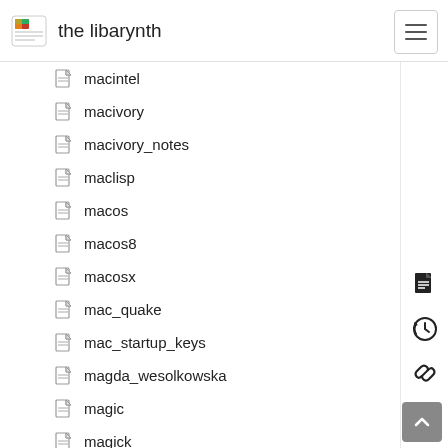the libarynth
macintel
macivory
macivory_notes
maclisp
macos
macos8
macosx
mac_quake
mac_startup_keys
magda_wesolkowska
magic
magick
magickal_resistance
magnapinna_pacifica
magnetic_implants
maiers_ten_counterproposals
mailman_notes
mail_conversion